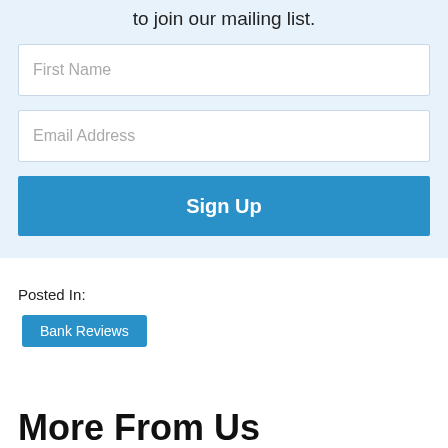to join our mailing list.
First Name
Email Address
Sign Up
Posted In:
Bank Reviews
More From Us